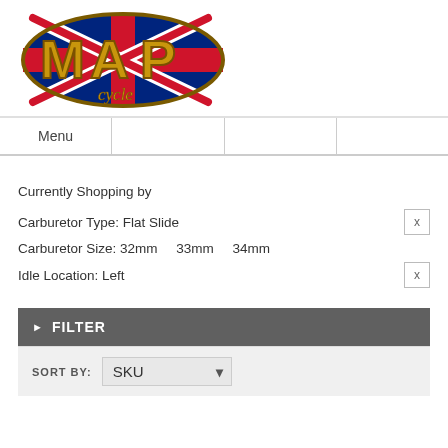[Figure (logo): MAP Cycle logo with UK Union Jack flag oval background and gold MAP lettering with 'cycle' script below]
Menu
Currently Shopping by
Carburetor Type: Flat Slide   X
Carburetor Size: 32mm   33mm   34mm
Idle Location: Left   X
▶ FILTER
SORT BY: SKU